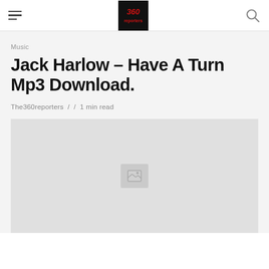The360reporters — navigation header with hamburger menu, logo, and search icon
Music
Jack Harlow – Have A Turn Mp3 Download.
The360reporters / / 1 min read
[Figure (photo): Featured image placeholder with grey background and broken image icon in the center]